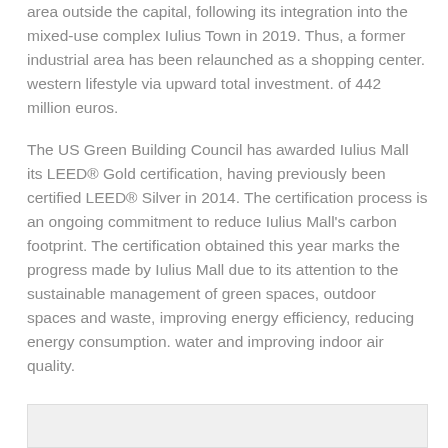area outside the capital, following its integration into the mixed-use complex Iulius Town in 2019. Thus, a former industrial area has been relaunched as a shopping center. western lifestyle via upward total investment. of 442 million euros.
The US Green Building Council has awarded Iulius Mall its LEED® Gold certification, having previously been certified LEED® Silver in 2014. The certification process is an ongoing commitment to reduce Iulius Mall's carbon footprint. The certification obtained this year marks the progress made by Iulius Mall due to its attention to the sustainable management of green spaces, outdoor spaces and waste, improving energy efficiency, reducing energy consumption. water and improving indoor air quality.
[Figure (photo): Partially visible image at the bottom of the page, showing a light gray/beige background, likely a photograph of a building or interior.]